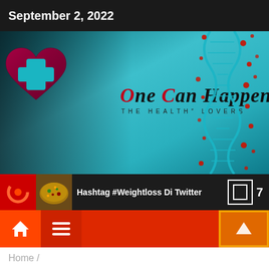September 2, 2022
[Figure (screenshot): Website banner for 'One Can Happen – The Health Lovers' blog. Features a teal DNA helix on right side with red dots, a heart with medical cross logo on the left, and the brand name in italic serif font. Dark teal gradient background.]
Hashtag #Weightloss Di Twitter
7
Home /